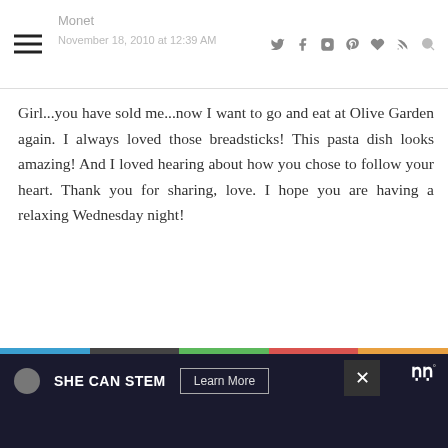Monet | November 18, 2010 at 12:39 AM
Girl...you have sold me...now I want to go and eat at Olive Garden again. I always loved those breadsticks! This pasta dish looks amazing! And I loved hearing about how you chose to follow your heart. Thank you for sharing, love. I hope you are having a relaxing Wednesday night!
Reply
Anonymous
November 18, 2010 at 8:36 PM
A very interesting inside into the kitchen of Olive Garden, thanks for sharing! The pasta looks terrific!
SHE CAN STEM  Learn More